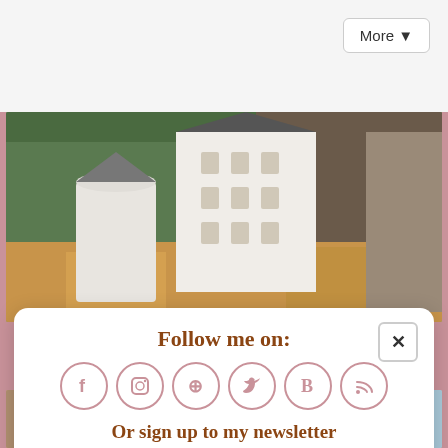[Figure (photo): Neuschwanstein Castle surrounded by autumn trees and forest, viewed from below]
More ▼
Follow me on:
[Figure (infographic): Six social media icons in circles: Facebook (f), Instagram, Pinterest, Twitter (bird), Bloglovin (B), RSS feed]
Or sign up to my newsletter
Subscribe
Sign Up!
[Figure (photo): Bottom strip showing a European street with buildings and a blue sky]